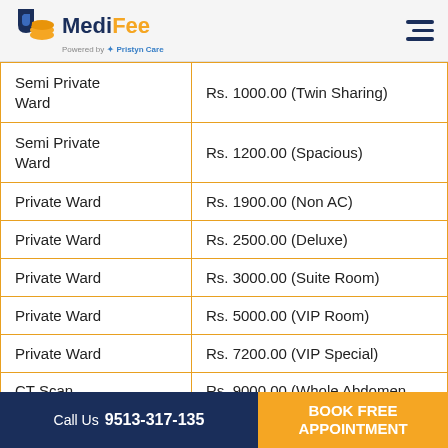MediFee powered by Pristyn Care
| Ward Type | Rate |
| --- | --- |
| Semi Private Ward | Rs. 1000.00 (Twin Sharing) |
| Semi Private Ward | Rs. 1200.00 (Spacious) |
| Private Ward | Rs. 1900.00 (Non AC) |
| Private Ward | Rs. 2500.00 (Deluxe) |
| Private Ward | Rs. 3000.00 (Suite Room) |
| Private Ward | Rs. 5000.00 (VIP Room) |
| Private Ward | Rs. 7200.00 (VIP Special) |
| CT Scan | Rs. 9000.00 (Whole Abdomen |
Call Us 9513-317-135 | BOOK FREE APPOINTMENT